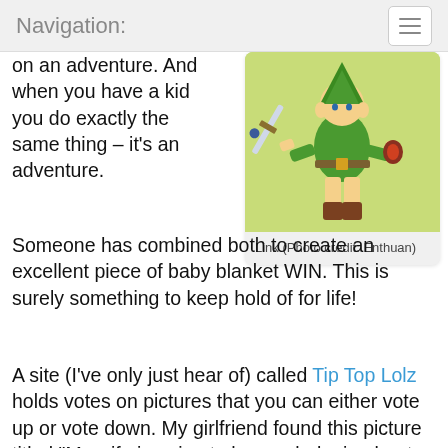Navigation:
on an adventure. And when you have a kid you do exactly the same thing – it's an adventure. Someone has combined both to create an excellent piece of baby blanket WIN. This is surely something to keep hold of for life!
[Figure (illustration): Illustration of Link character from The Legend of Zelda, wearing green tunic, holding a sword, on a yellow-green background.]
Link (Photo credit: Enthuan)
A site (I've only just hear of) called Tip Top Lolz holds votes on pictures that you can either vote up or vote down. My girlfriend found this picture titled "My wife is going to have a baby in about a week so her mother made us a baby blanket. I thought you guys might like it". Image is credited to MichelleGlavan's channel on the site. It's a pixel perfect replica of Link from The Legend of Zelda stitched on a baby blanket. It's hand